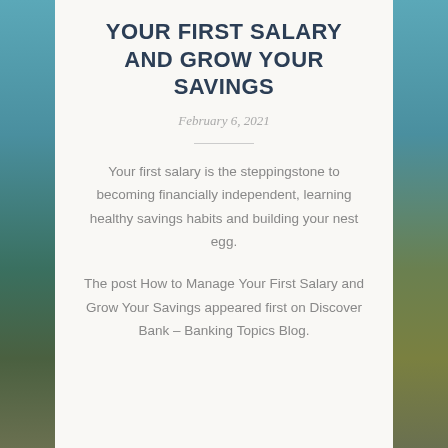YOUR FIRST SALARY AND GROW YOUR SAVINGS
February 6, 2021
Your first salary is the steppingstone to becoming financially independent, learning healthy savings habits and building your nest egg.
The post How to Manage Your First Salary and Grow Your Savings appeared first on Discover Bank – Banking Topics Blog.